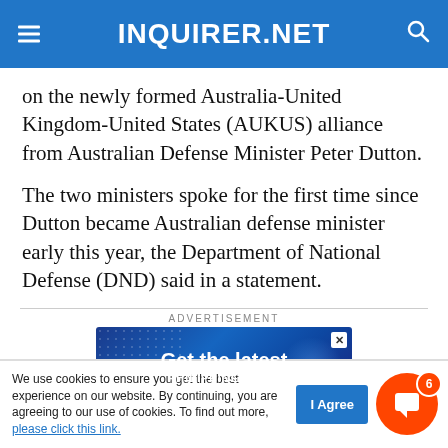INQUIRER.NET
on the newly formed Australia-United Kingdom-United States (AUKUS) alliance from Australian Defense Minister Peter Dutton.
The two ministers spoke for the first time since Dutton became Australian defense minister early this year, the Department of National Defense (DND) said in a statement.
ADVERTISEMENT
[Figure (screenshot): Blue advertisement banner with white text reading 'Get the latest' and 'PHILIPPINE NEWS' on a dark blue background with dot pattern]
We use cookies to ensure you get the best experience on our website. By continuing, you are agreeing to our use of cookies. To find out more, please click this link.